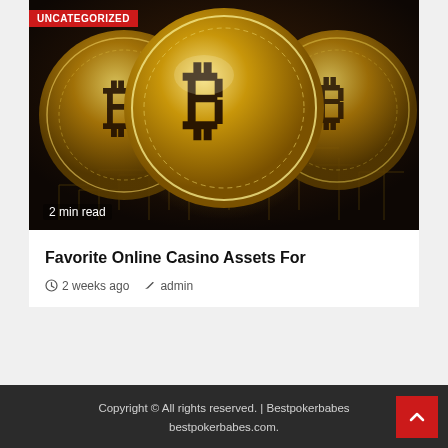[Figure (photo): Three golden Bitcoin coins on a dark circuit board background]
UNCATEGORIZED
2 min read
Favorite Online Casino Assets For
2 weeks ago  admin
Copyright © All rights reserved. | Bestpokerbabes bestpokerbabes.com.